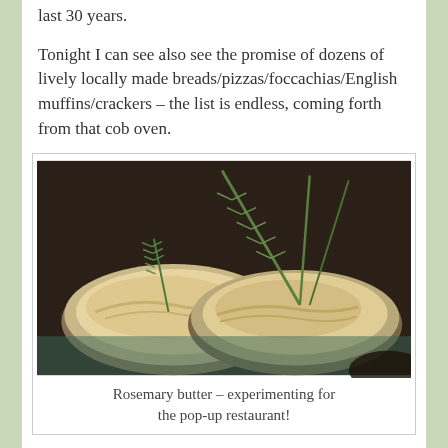last 30 years.
Tonight I can see also see the promise of dozens of lively locally made breads/pizzas/foccachias/English muffins/crackers – the list is endless, coming forth from that cob oven.
[Figure (photo): Two ceramic bowls filled with creamy rosemary butter, garnished with fresh rosemary sprigs on top, placed on a dark surface.]
Rosemary butter – experimenting for the pop-up restaurant!